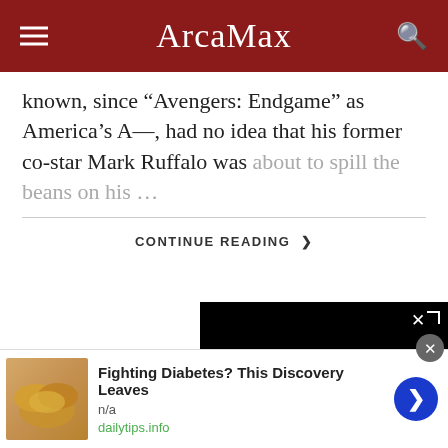ArcaMax
known, since “Avengers: Endgame” as America’s A—, had no idea that his former co-star Mark Ruffalo was about to spill the beans on his …
CONTINUE READING ›
[Figure (screenshot): Black video player with loading circle and close button]
[Figure (photo): Cashew nuts close-up photo for advertisement]
Fighting Diabetes? This Discovery Leaves
n/a
dailytips.info